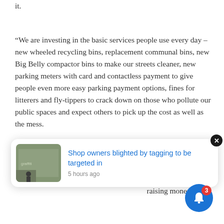it.
“We are investing in the basic services people use every day – new wheeled recycling bins, replacement communal bins, new Big Belly compactor bins to make our streets cleaner, new parking meters with card and contactless payment to give people even more easy parking payment options, fines for litterers and fly-tippers to crack down on those who pollute our public spaces and expect others to pick up the cost as well as the mess.
“Commercial waste collections, garden waste collections and vehicle servicing are bringing in new
[Figure (screenshot): News article thumbnail with image of graffitied wall and link text: 'Shop owners blighted by tagging to be targeted in' with timestamp '5 hours ago']
es we raising money